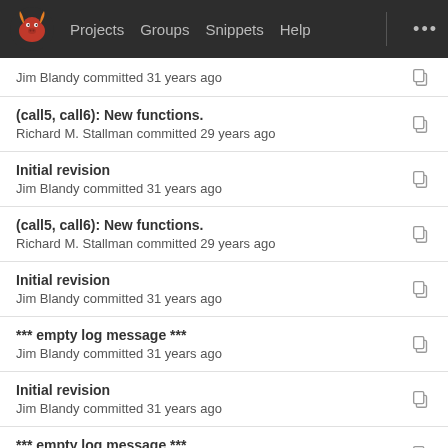Projects  Groups  Snippets  Help  ...
Jim Blandy committed 31 years ago
(call5, call6): New functions.
Richard M. Stallman committed 29 years ago
Initial revision
Jim Blandy committed 31 years ago
(call5, call6): New functions.
Richard M. Stallman committed 29 years ago
Initial revision
Jim Blandy committed 31 years ago
*** empty log message ***
Jim Blandy committed 31 years ago
Initial revision
Jim Blandy committed 31 years ago
*** empty log message ***
Jim Blandy committed 31 years ago